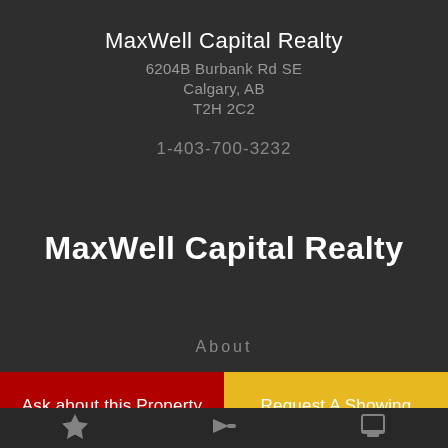MaxWell Capital Realty
6204B Burbank Rd SE
Calgary, AB
T2H 2C2
1-403-700-3232
MaxWell Capital Realty
About
Ask about this Property
Request A Showing